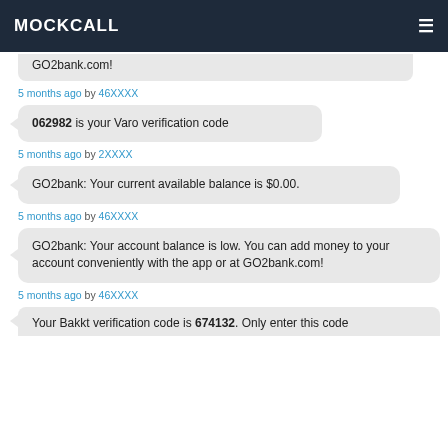MOCKCALL
GO2bank.com!
5 months ago by 46XXXX
062982 is your Varo verification code
5 months ago by 2XXXX
GO2bank: Your current available balance is $0.00.
5 months ago by 46XXXX
GO2bank: Your account balance is low. You can add money to your account conveniently with the app or at GO2bank.com!
5 months ago by 46XXXX
Your Bakkt verification code is 674132. Only enter this code